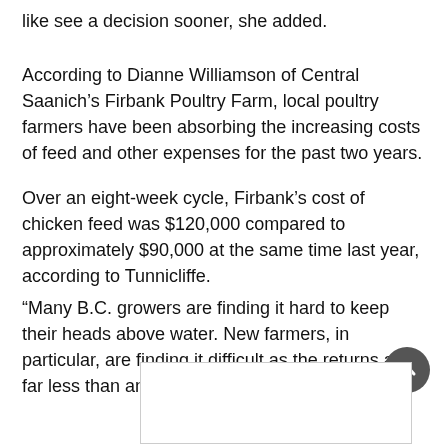like see a decision sooner, she added.
According to Dianne Williamson of Central Saanich’s Firbank Poultry Farm, local poultry farmers have been absorbing the increasing costs of feed and other expenses for the past two years.
Over an eight-week cycle, Firbank’s cost of chicken feed was $120,000 compared to approximately $90,000 at the same time last year, according to Tunnicliffe.
“Many B.C. growers are finding it hard to keep their heads above water. New farmers, in particular, are finding it difficult as the returns are far less than anticipated.”
[Figure (other): Advertisement box placeholder with border]